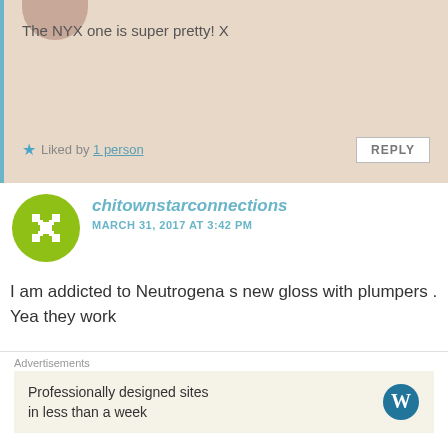The NYX one is super pretty! X
Liked by 1 person
REPLY
[Figure (illustration): Green geometric avatar icon for chitownstarconnections]
chitownstarconnections
MARCH 31, 2017 AT 3:42 PM
I am addicted to Neutrogena s new gloss with plumpers . Yea they work
Liked by 1 person
REPLY
[Figure (photo): Dark-haired person avatar photo for Miss Alicia's Blog]
Miss Alicia's Blog
Advertisements
Professionally designed sites in less than a week